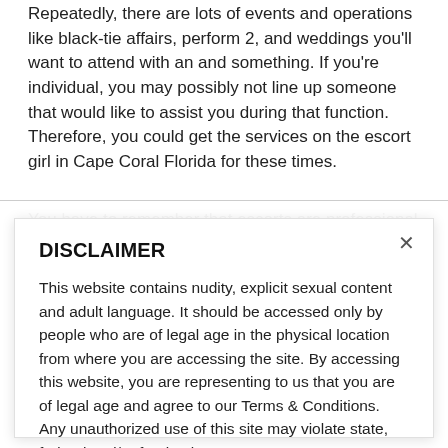Repeatedly, there are lots of events and operations like black-tie affairs, perform 2, and weddings you'll want to attend with an and something. If you're individual, you may possibly not line up someone that would like to assist you during that function. Therefore, you could get the services on the escort girl in Cape Coral Florida for these times.
You have to remember that escorts are professional given to supply these services. They
DISCLAIMER
This website contains nudity, explicit sexual content and adult language. It should be accessed only by people who are of legal age in the physical location from where you are accessing the site. By accessing this website, you are representing to us that you are of legal age and agree to our Terms & Conditions. Any unauthorized use of this site may violate state, federal and/or foreign law.
While hookupdates.net does not create, produce or edit any